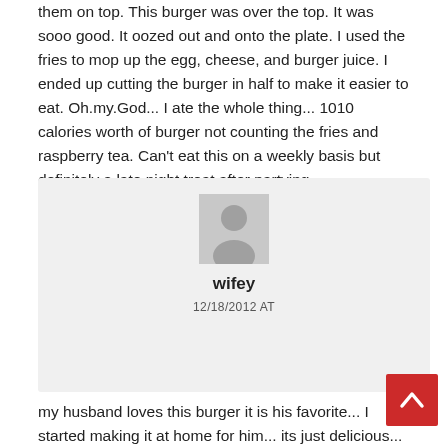them on top. This burger was over the top. It was sooo good. It oozed out and onto the plate. I used the fries to mop up the egg, cheese, and burger juice. I ended up cutting the burger in half to make it easier to eat. Oh.my.God... I ate the whole thing... 1010 calories worth of burger not counting the fries and raspberry tea. Can't eat this on a weekly basis but definitely a late night treat after partying.
[Figure (illustration): Generic user avatar placeholder — grey silhouette of a person on light grey background]
wifey
12/18/2012 AT
my husband loves this burger it is his favorite... I started making it at home for him... its just delicious...